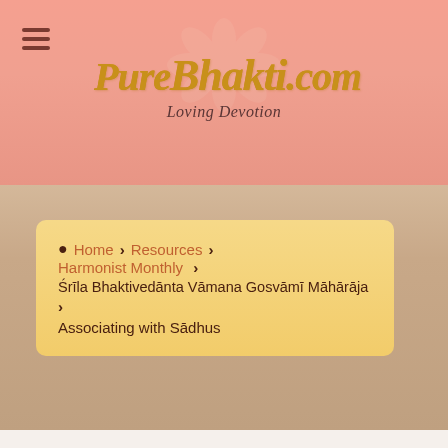[Figure (logo): PureBhakti.com website header with logo text in gold italic script, subtitle 'Loving Devotion' in dark serif, pink gradient background with flower motif, hamburger menu icon top left]
Home > Resources > Harmonist Monthly > Śrīla Bhaktivedānta Vāmana Gosvāmī Māhārāja > Associating with Sādhus